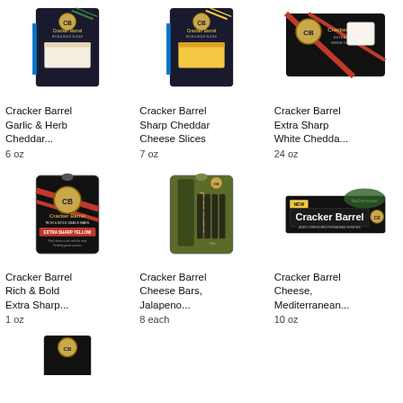[Figure (photo): Cracker Barrel Garlic & Herb Cheddar slices package, dark blue/black packaging]
Cracker Barrel Garlic & Herb Cheddar...
6 oz
[Figure (photo): Cracker Barrel Sharp Cheddar Cheese Slices package, dark blue packaging with yellow cheese]
Cracker Barrel Sharp Cheddar Cheese Slices
7 oz
[Figure (photo): Cracker Barrel Extra Sharp White Cheddar block in black/red packaging]
Cracker Barrel Extra Sharp White Chedda...
24 oz
[Figure (photo): Cracker Barrel Rich & Bold Extra Sharp snack bars, black bag with red accents]
Cracker Barrel Rich & Bold Extra Sharp...
1 oz
[Figure (photo): Cracker Barrel Cheese Bars Jalapeno, olive green bag]
Cracker Barrel Cheese Bars, Jalapeno...
8 each
[Figure (photo): Cracker Barrel Cheese Mediterranean package, black/green with NEW label]
Cracker Barrel Cheese, Mediterranean...
10 oz
[Figure (photo): Cracker Barrel product partially visible at bottom of page]